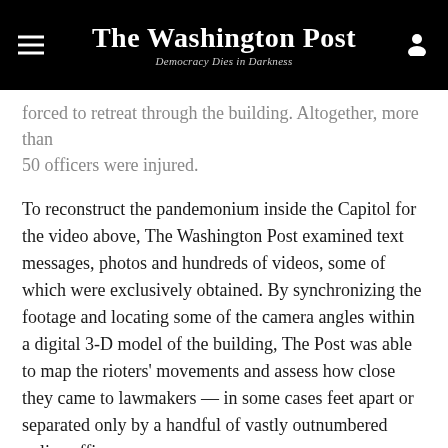The Washington Post
Democracy Dies in Darkness
forced to retreat through the building. Altogether, more than 50 officers were injured.
To reconstruct the pandemonium inside the Capitol for the video above, The Washington Post examined text messages, photos and hundreds of videos, some of which were exclusively obtained. By synchronizing the footage and locating some of the camera angles within a digital 3-D model of the building, The Post was able to map the rioters' movements and assess how close they came to lawmakers — in some cases feet apart or separated only by a handful of vastly outnumbered police officers.
The Post used a facial-recognition algorithm that differentiates individual faces — it does not identify